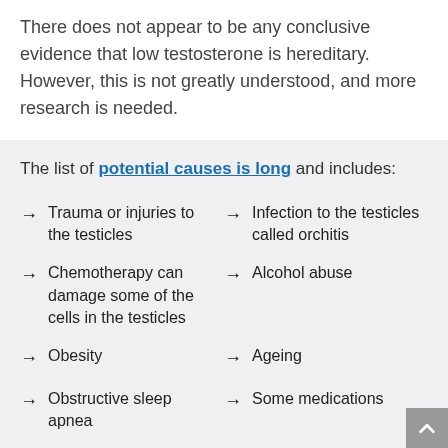There does not appear to be any conclusive evidence that low testosterone is hereditary. However, this is not greatly understood, and more research is needed.
The list of potential causes is long and includes:
Trauma or injuries to the testicles
Infection to the testicles called orchitis
Chemotherapy can damage some of the cells in the testicles
Alcohol abuse
Obesity
Ageing
Obstructive sleep apnea
Some medications